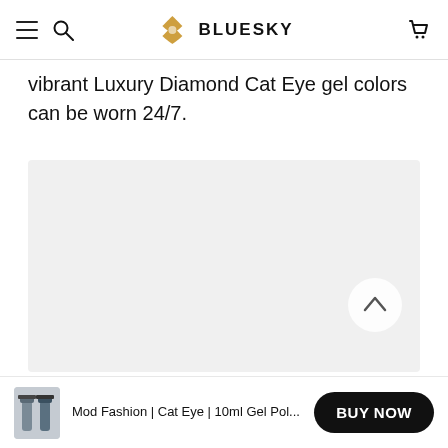BLUESKY
vibrant Luxury Diamond Cat Eye gel colors can be worn 24/7.
[Figure (photo): Light grey/white product image placeholder area with a circular scroll-up arrow button on the right side]
Mod Fashion | Cat Eye | 10ml Gel Pol...
BUY NOW